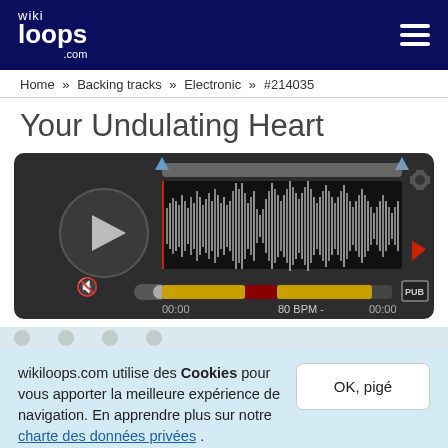wikiloops.com
Home » Backing tracks » Electronic » #214035
Your Undulating Heart
[Figure (screenshot): Audio player with waveform display showing a music track. Contains a play button, waveform visualization, timeline track bar with diamond markers, progress bar in yellow/red/yellow, time displays '00:00' and '00:00', tempo '80 BPM -', volume control, and PUB button.]
wikiloops.com utilise des Cookies pour vous apporter la meilleure expérience de navigation. En apprendre plus sur notre charte des données privées .